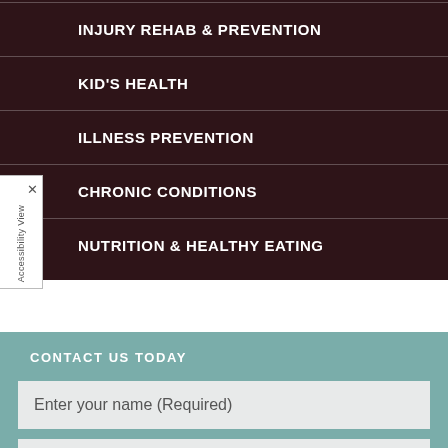INJURY REHAB & PREVENTION
KID'S HEALTH
ILLNESS PREVENTION
CHRONIC CONDITIONS
NUTRITION & HEALTHY EATING
CONTACT US TODAY
Enter your name (Required)
Enter email (Required)